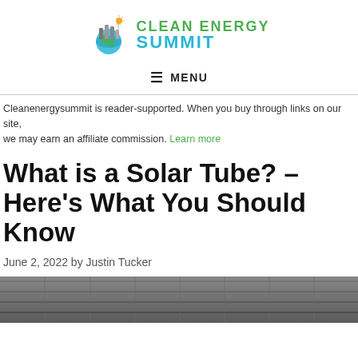CLEAN ENERGY SUMMIT
≡ MENU
Cleanenergysummit is reader-supported. When you buy through links on our site, we may earn an affiliate commission. Learn more
What is a Solar Tube? – Here's What You Should Know
June 2, 2022 by Justin Tucker
[Figure (photo): Grayscale image of solar panels at bottom of page]